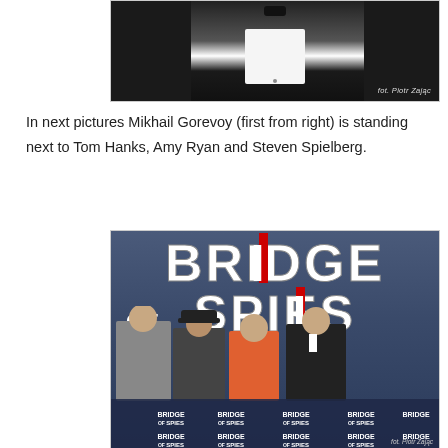[Figure (photo): Close-up photo of a person in a black tuxedo with white shirt and bow tie, watermarked 'fot. Piotr Zając']
In next pictures Mikhail Gorevoy (first from right) is standing next to Tom Hanks, Amy Ryan and Steven Spielberg.
[Figure (photo): Photo of four people standing in front of a 'Bridge of Spies' movie premiere backdrop, watermarked 'fot. Piotr Zając']